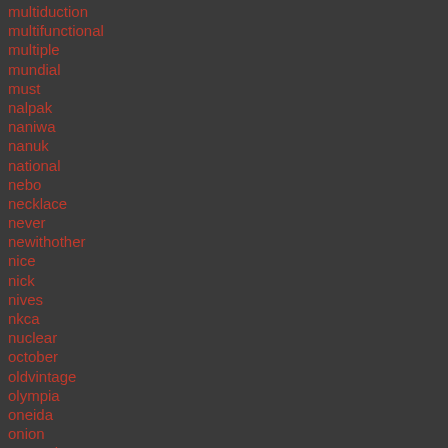multiduction
multifunctional
multiple
mundial
must
nalpak
naniwa
nanuk
national
nebo
necklace
never
newithother
nice
nick
nives
nkca
nuclear
october
oldvintage
olympia
oneida
onion
opened
opening
opinel